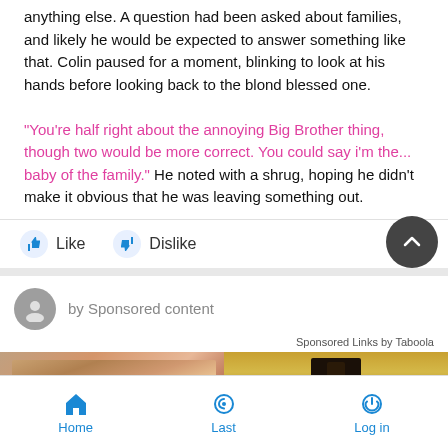anything else. A question had been asked about families, and likely he would be expected to answer something like that. Colin paused for a moment, blinking to look at his hands before looking back to the blond blessed one.

"You're half right about the annoying Big Brother thing, though two would be more correct. You could say i'm the... baby of the family." He noted with a shrug, hoping he didn't make it obvious that he was leaving something out.
[Figure (screenshot): Like and Dislike buttons with thumbs up and thumbs down icons in blue]
[Figure (screenshot): Sponsored content section with avatar, 'by Sponsored content' text, 'Sponsored Links by Taboola' label, and two placeholder images (man's face, lamp/fixture), plus a dark scroll-up button]
Home   Last   Log in